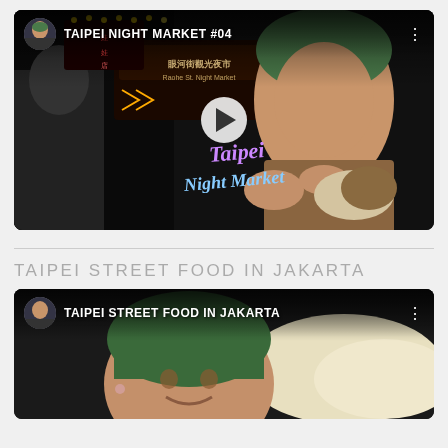[Figure (screenshot): YouTube-style video thumbnail for 'TAIPEI NIGHT MARKET #04'. Shows a person eating at a night market with neon signs in background. Avatar icon top-left, title text top-center, three-dot menu top-right, play button centered.]
TAIPEI STREET FOOD IN JAKARTA
[Figure (screenshot): YouTube-style video thumbnail for 'TAIPEI STREET FOOD IN JAKARTA'. Shows a smiling person with green-dyed hair and food items. Avatar icon top-left, title text top-center, three-dot menu top-right.]